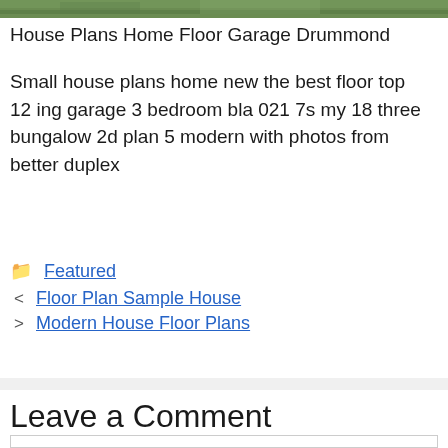[Figure (photo): Top strip of a house/landscape photo, cropped to a thin strip at the top of the page]
House Plans Home Floor Garage Drummond
Small house plans home new the best floor top 12 ing garage 3 bedroom bla 021 7s my 18 three bungalow 2d plan 5 modern with photos from better duplex
Featured
Floor Plan Sample House
Modern House Floor Plans
Leave a Comment